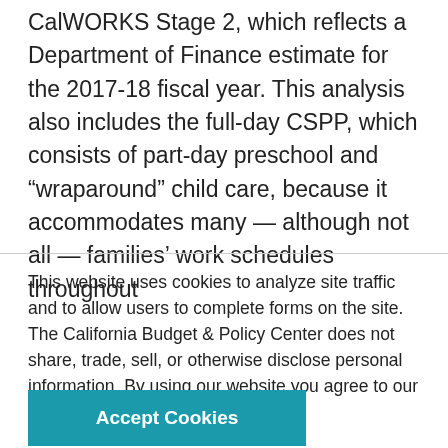CalWORKS Stage 2, which reflects a Department of Finance estimate for the 2017-18 fiscal year. This analysis also includes the full-day CSPP, which consists of part-day preschool and “wraparound” child care, because it accommodates many — although not all — families’ work schedules throughout
This website uses cookies to analyze site traffic and to allow users to complete forms on the site. The California Budget & Policy Center does not share, trade, sell, or otherwise disclose personal information. By using our website you agree to our Privacy Policy.
Accept Cookies